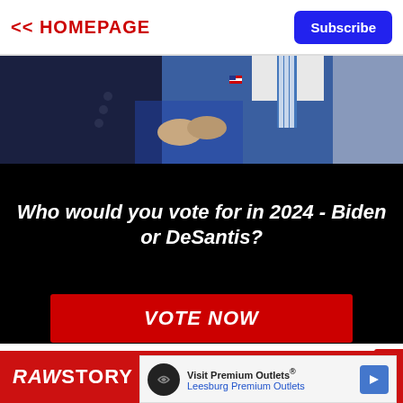<< HOMEPAGE | Subscribe
[Figure (photo): Photo of two men in suits shaking hands, one in dark navy suit, one in blue suit with striped tie and American flag pin]
Who would you vote for in 2024 - Biden or DeSantis?
VOTE NOW
[Figure (logo): RAW STORY logo in white text on red background with close X button]
[Figure (infographic): Advertisement banner: Visit Premium Outlets® Leesburg Premium Outlets with navigation arrow icon]